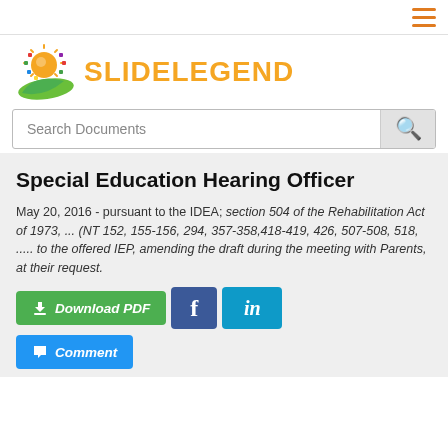[Figure (logo): SlideLegend logo with sun and leaf graphic and orange SLIDELEGEND text]
Search Documents
Special Education Hearing Officer
May 20, 2016 - pursuant to the IDEA; section 504 of the Rehabilitation Act of 1973, ... (NT 152, 155-156, 294, 357-358,418-419, 426, 507-508, 518, ..... to the offered IEP, amending the draft during the meeting with Parents, at their request.
[Figure (screenshot): Download PDF button (green), Facebook share button (blue), LinkedIn share button (light blue), Comment button (blue)]